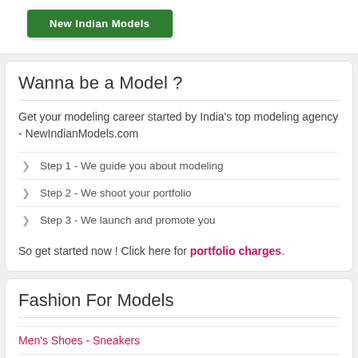[Figure (other): Green button/banner with white text reading 'New Indian Models' or similar]
Wanna be a Model ?
Get your modeling career started by India's top modeling agency - NewIndianModels.com
Step 1 - We guide you about modeling
Step 2 - We shoot your portfolio
Step 3 - We launch and promote you
So get started now ! Click here for portfolio charges.
Fashion For Models
Men's Shoes - Sneakers
Men's Sunglasses
Men's Suits & Bl...